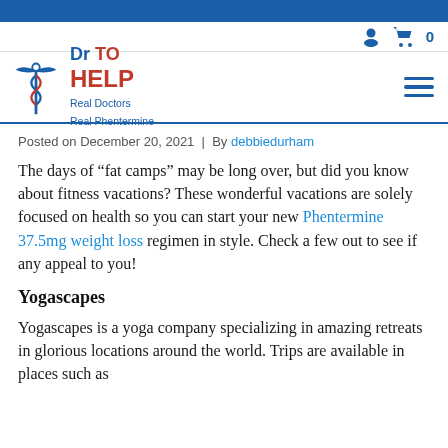[Figure (logo): Dr TO HELP - Real Doctors Real Phentermine logo with caduceus snake symbol]
Posted on December 20, 2021  |  By debbiedurham
The days of “fat camps” may be long over, but did you know about fitness vacations? These wonderful vacations are solely focused on health so you can start your new Phentermine 37.5mg weight loss regimen in style. Check a few out to see if any appeal to you!
Yogascapes
Yogascapes is a yoga company specializing in amazing retreats in glorious locations around the world. Trips are available in places such as